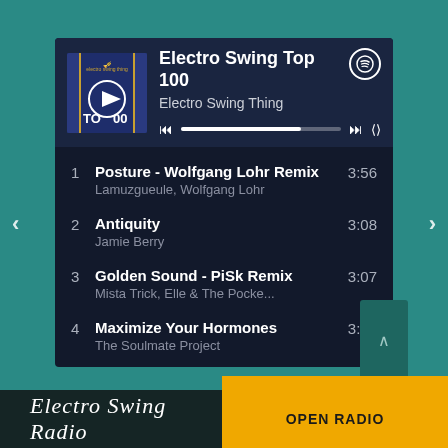[Figure (screenshot): Spotify-style music player widget showing Electro Swing Top 100 playlist by Electro Swing Thing with album art, playback controls, and progress bar]
1  Posture - Wolfgang Lohr Remix  3:56
Lamuzgueule, Wolfgang Lohr
2  Antiquity  3:08
Jamie Berry
3  Golden Sound - PiSk Remix  3:07
Mista Trick, Elle & The Pocke...
4  Maximize Your Hormones  3:22
The Soulmate Project
Electro Swing Radio
OPEN RADIO